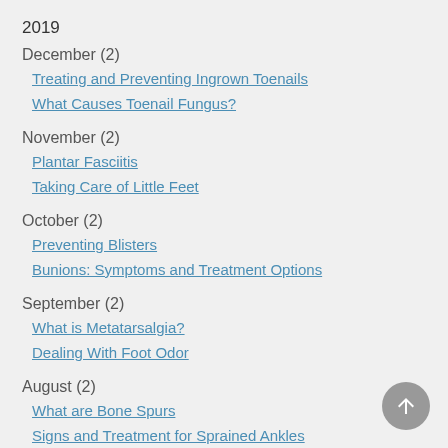2019
December (2)
Treating and Preventing Ingrown Toenails
What Causes Toenail Fungus?
November (2)
Plantar Fasciitis
Taking Care of Little Feet
October (2)
Preventing Blisters
Bunions: Symptoms and Treatment Options
September (2)
What is Metatarsalgia?
Dealing With Foot Odor
August (2)
What are Bone Spurs
Signs and Treatment for Sprained Ankles
July (2)